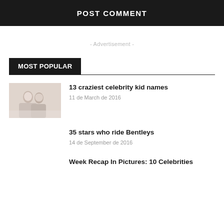POST COMMENT
- Advertisement -
MOST POPULAR
[Figure (photo): Thumbnail photo of people, likely a family or celebrity group shot]
13 craziest celebrity kid names
11 de March de 2016
35 stars who ride Bentleys
14 de September de 2016
Week Recap In Pictures: 10 Celebrities